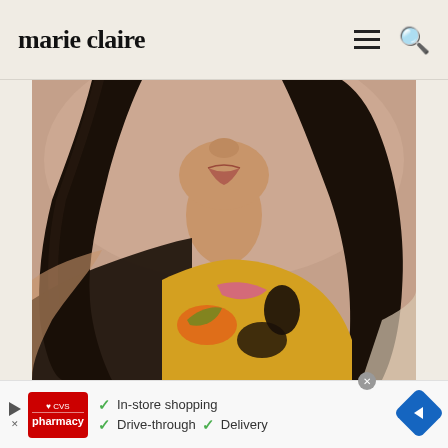marie claire
[Figure (photo): Close-up fashion photo of a young woman with long dark straight hair, wearing a colorful printed top with orange, yellow, green, and black patterns. She wears a large circular pink spiral earring and appears to be in a 1960s-70s style editorial.]
[Figure (screenshot): CVS Pharmacy advertisement banner showing CVS logo with checkmarks listing: In-store shopping, Drive-through, Delivery]